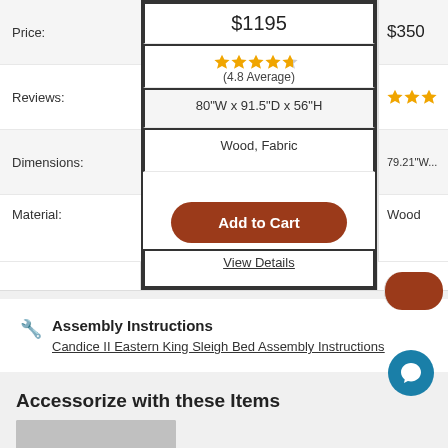|  | Product 1 | Product 2 |
| --- | --- | --- |
| Price: | $1195 | $350 |
| Reviews: | ★★★★½ (4.8 Average) | ★★★ |
| Dimensions: | 80"W x 91.5"D x 56"H | 79.21"W... |
| Material: | Wood, Fabric | Wood |
Add to Cart
View Details
Assembly Instructions
Candice II Eastern King Sleigh Bed Assembly Instructions
Accessorize with these Items